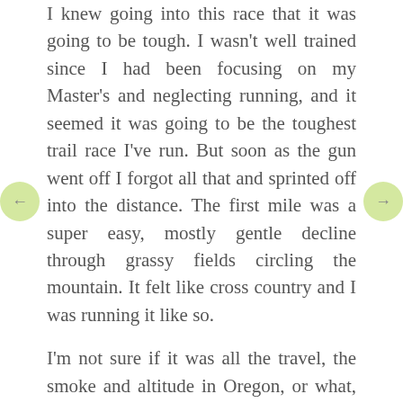I knew going into this race that it was going to be tough. I wasn't well trained since I had been focusing on my Master's and neglecting running, and it seemed it was going to be the toughest trail race I've run. But soon as the gun went off I forgot all that and sprinted off into the distance. The first mile was a super easy, mostly gentle decline through grassy fields circling the mountain. It felt like cross country and I was running it like so.
I'm not sure if it was all the travel, the smoke and altitude in Oregon, or what, but the instant we started uphill into the woods back toward the mountain my heart started racing way faster than any other time I can remember. It especially freaked me out since my breathing and everything else felt fine (like I wasn't even putting in that much effort) so